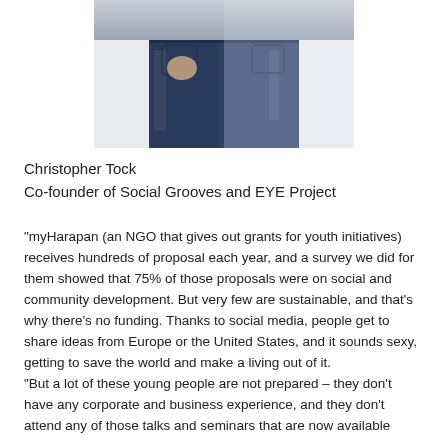[Figure (photo): Photo of Christopher Tock from torso down, wearing dark blue jeans and a blue shirt, hands in pockets, white background]
Christopher Tock
Co-founder of Social Grooves and EYE Project
“myHarapan (an NGO that gives out grants for youth initiatives) receives hundreds of proposal each year, and a survey we did for them showed that 75% of those proposals were on social and community development. But very few are sustainable, and that’s why there’s no funding. Thanks to social media, people get to share ideas from Europe or the United States, and it sounds sexy, getting to save the world and make a living out of it.
“But a lot of these young people are not prepared – they don’t have any corporate and business experience, and they don’t attend any of those talks and seminars that are now available